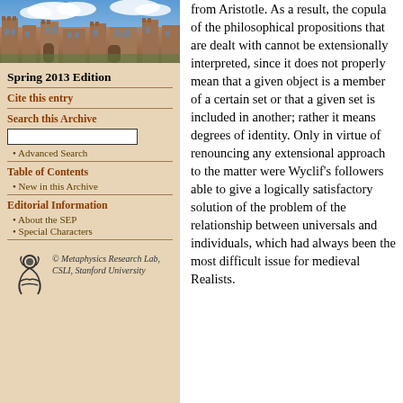[Figure (photo): Photo of a historic university building with stone architecture and blue sky with clouds]
Spring 2013 Edition
Cite this entry
Search this Archive
Advanced Search
Table of Contents
New in this Archive
Editorial Information
About the SEP
Special Characters
© Metaphysics Research Lab, CSLI, Stanford University
from Aristotle. As a result, the copula of the philosophical propositions that are dealt with cannot be extensionally interpreted, since it does not properly mean that a given object is a member of a certain set or that a given set is included in another; rather it means degrees of identity. Only in virtue of renouncing any extensional approach to the matter were Wyclif's followers able to give a logically satisfactory solution of the problem of the relationship between universals and individuals, which had always been the most difficult issue for medieval Realists.